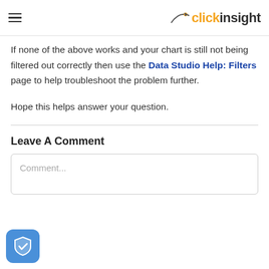clickinsight
If none of the above works and your chart is still not being filtered out correctly then use the Data Studio Help: Filters page to help troubleshoot the problem further.
Hope this helps answer your question.
Leave A Comment
Comment...